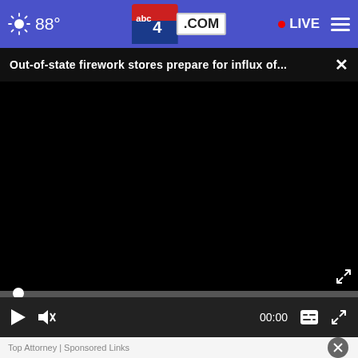88° | abc4.com | LIVE
Out-of-state firework stores prepare for influx of...
[Figure (screenshot): Black video player with progress bar at bottom, showing 00:00 timestamp. Controls include play button, mute button, time display 00:00, caption button, and fullscreen button.]
Top Attorney | Sponsored Links
[Figure (screenshot): Advertisement for Firestone Auto Care in Ashburn showing OPEN 7:30AM-6PM, address 43781 Parkhurst Plaza, Ashburn, with green OPEN text and navigation icon.]